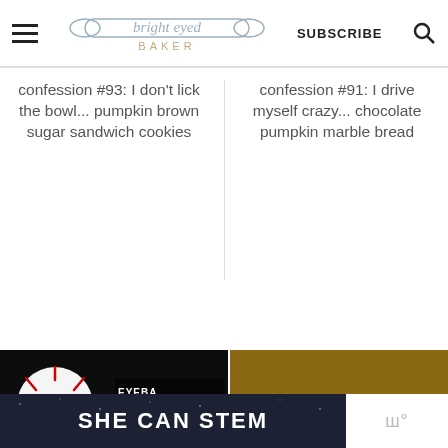bright eyed BAKER | SUBSCRIBE
confession #93: I don't lick the bowl... pumpkin brown sugar sandwich cookies
confession #91: I drive myself crazy... chocolate pumpkin marble bread
[Figure (photo): Eyeball cupcakes on a dark background with red frosting details, text overlay 'EYEBALL cupcake brighteyedbaker']
[Figure (photo): Bowl of almonds on a wooden table with a pumpkin-patterned cloth, text overlay 'How to Toast Nuts brighteyedbaker.com' with heart and share icons]
SHE CAN STEM
ш°